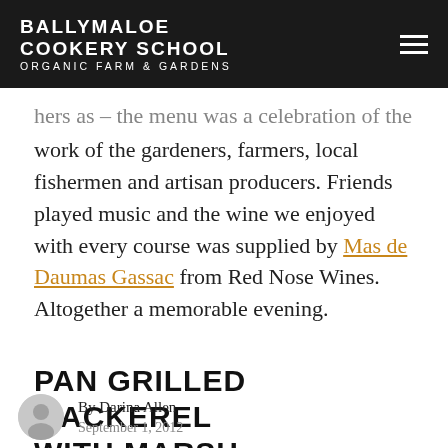BALLYMALOE COOKERY SCHOOL ORGANIC FARM & GARDENS
hers as - the menu was a celebration of the work of the gardeners, farmers, local fishermen and artisan producers. Friends played music and the wine we enjoyed with every course was supplied by Mas de Daumas Gassac from Red Nose Wines. Altogether a memorable evening.
PAN GRILLED MACKEREL WITH MARSH SAMPHIRE AND
By Darina Allen
September 1, 2012